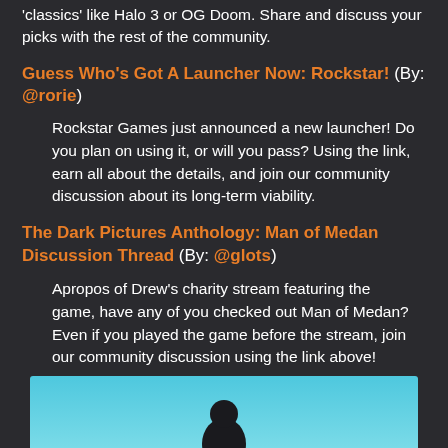'classics' like Halo 3 or OG Doom. Share and discuss your picks with the rest of the community.
Guess Who's Got A Launcher Now: Rockstar! (By: @rorie)
Rockstar Games just announced a new launcher! Do you plan on using it, or will you pass? Using the link, earn all about the details, and join our community discussion about its long-term viability.
The Dark Pictures Anthology: Man of Medan Discussion Thread (By: @glots)
Apropos of Drew's charity stream featuring the game, have any of you checked out Man of Medan? Even if you played the game before the stream, join our community discussion using the link above!
[Figure (photo): Partial image at bottom of page showing a light blue background with silhouette of a person or character]